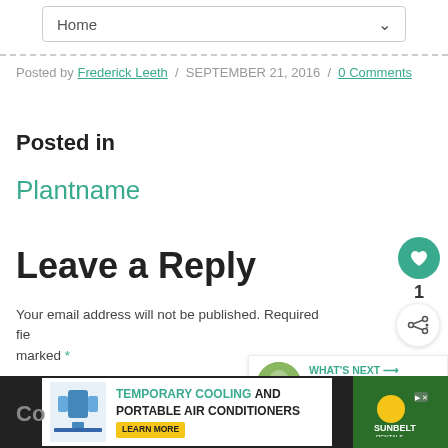Home
Posted by Frederick Leeth / SEPTEMBER 21, 2016 / 0 Comments
Posted in
Plantname
Leave a Reply
Your email address will not be published. Required fields are marked *
WHAT'S NEXT → Mertensia – Virginia...
[Figure (infographic): Advertisement banner: TEMPORARY COOLING AND PORTABLE AIR CONDITIONERS with LEARN MORE button and Sunbelt logo]
Co